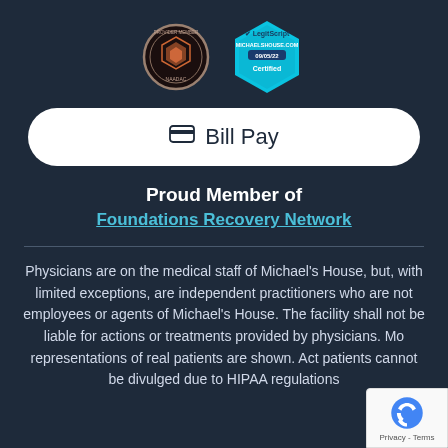[Figure (logo): NAADAC Provider Member circular badge and LegitScript hexagonal certified badge for michaelshouse.com dated 09/05/22]
Bill Pay
Proud Member of
Foundations Recovery Network
Physicians are on the medical staff of Michael's House, but, with limited exceptions, are independent practitioners who are not employees or agents of Michael's House. The facility shall not be liable for actions or treatments provided by physicians. Mo representations of real patients are shown. Act patients cannot be divulged due to HIPAA regulations
[Figure (logo): reCAPTCHA badge with Privacy - Terms text]